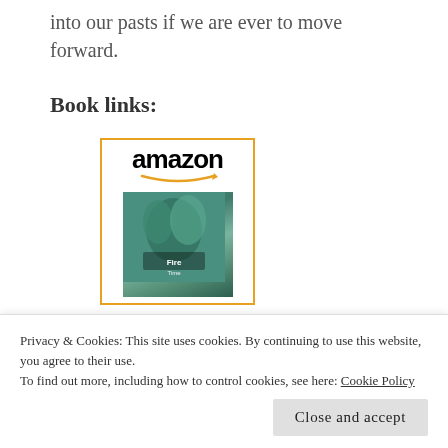into our pasts if we are ever to move forward.
Book links:
[Figure (illustration): Amazon product listing thumbnail showing the Amazon logo with orange arrow and a book cover with green/teal illustrated imagery]
Privacy & Cookies: This site uses cookies. By continuing to use this website, you agree to their use.
To find out more, including how to control cookies, see here: Cookie Policy
Close and accept